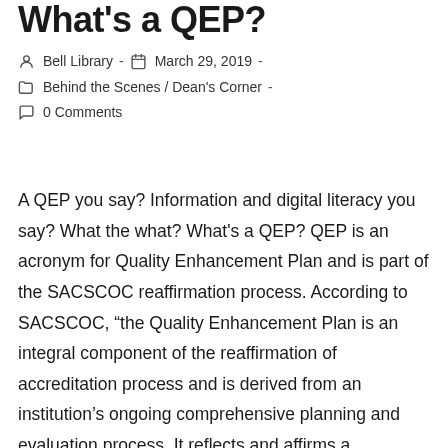What's a QEP?
Bell Library  -  March 29, 2019  -  Behind the Scenes / Dean's Corner  -  0 Comments
A QEP you say? Information and digital literacy you say? What the what? What's a QEP? QEP is an acronym for Quality Enhancement Plan and is part of the SACSCOC reaffirmation process. According to SACSCOC, “the Quality Enhancement Plan is an integral component of the reaffirmation of accreditation process and is derived from an institution’s ongoing comprehensive planning and evaluation process. It reflects and affirms a commitment to enhance overall institutional quality and effectiveness by focusing on an issue that the